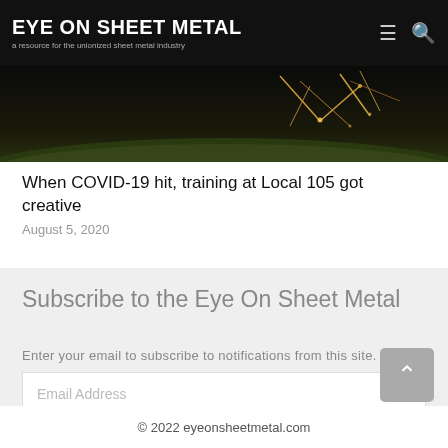EYE ON SHEET METAL — a resource for the unionized sheet metal industry
[Figure (photo): Dark nighttime photo with sparks or fireworks visible against a dark sky, with grass/landscape in the lower portion]
When COVID-19 hit, training at Local 105 got creative
August 5, 2020
Subscribe to the Eye On Sheet Metal
Enter your email to subscribe to notifications from this site.
© 2022 eyeonsheetmetal.com